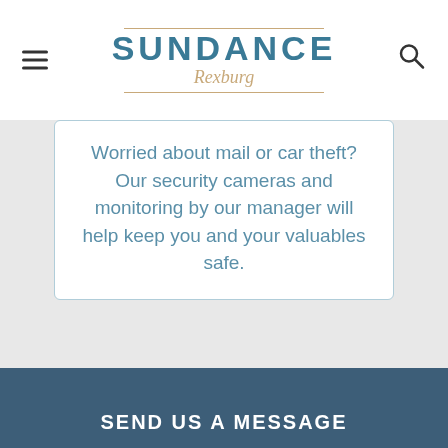SUNDANCE Rexburg
Worried about mail or car theft? Our security cameras and monitoring by our manager will help keep you and your valuables safe.
SEND US A MESSAGE